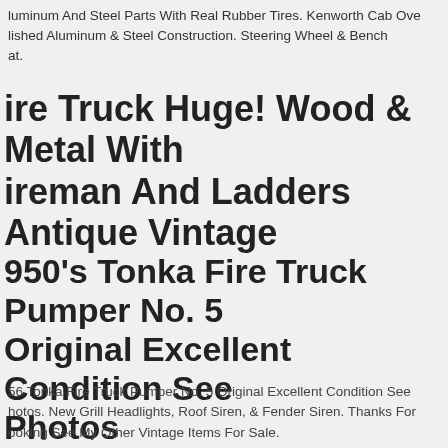luminum And Steel Parts With Real Rubber Tires. Kenworth Cab Ove lished Aluminum & Steel Construction. Steering Wheel & Bench at.
ire Truck Huge! Wood & Metal With ireman And Ladders Antique Vintage
950's Tonka Fire Truck Pumper No. 5 Original Excellent Condition See Photos
56 Tonka Fire Truck Pumper No. 5 Original Excellent Condition See hotos. New Grill Headlights, Roof Siren, & Fender Siren. Thanks For ooking See My Other Vintage Items For Sale.